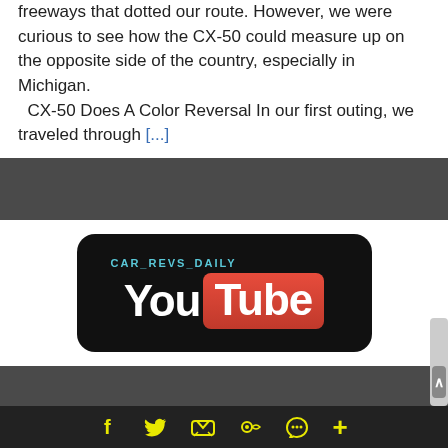freeways that dotted our route. However, we were curious to see how the CX-50 could measure up on the opposite side of the country, especially in Michigan.  CX-50 Does A Color Reversal In our first outing, we traveled through [...]
[Figure (logo): CAR_REVS_DAILY YouTube logo on black rounded rectangle background]
[Figure (logo): CAR_REVS_DAILY Pinterest logo on black rounded rectangle background, partially visible]
f  (twitter)  (email)  p  (whatsapp)  +